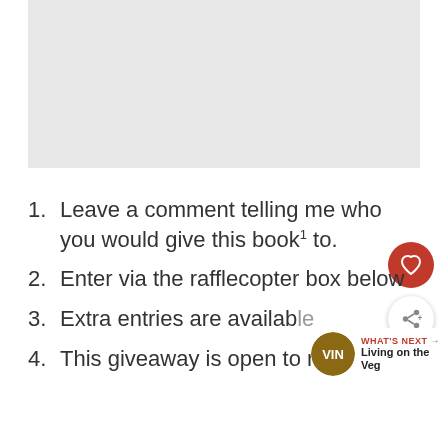[Figure (photo): Blank/placeholder image area at top of page]
Leave a comment telling me who you would give this book to.
Enter via the rafflecopter box below
Extra entries are available
This giveaway is open to readers